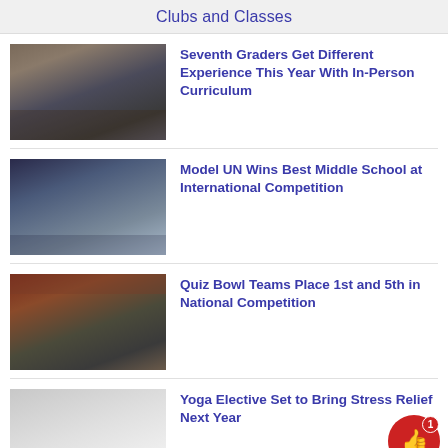Clubs and Classes
[Figure (photo): Students seated around a table working on projects]
Seventh Graders Get Different Experience This Year With In-Person Curriculum
[Figure (photo): Group of students in formal attire posing on stairs]
Model UN Wins Best Middle School at International Competition
[Figure (photo): Students competing at a Quiz Bowl event in a hotel ballroom]
Quiz Bowl Teams Place 1st and 5th in National Competition
[Figure (photo): Person doing a yoga pose on the floor]
Yoga Elective Set to Bring Stress Relief Next Year